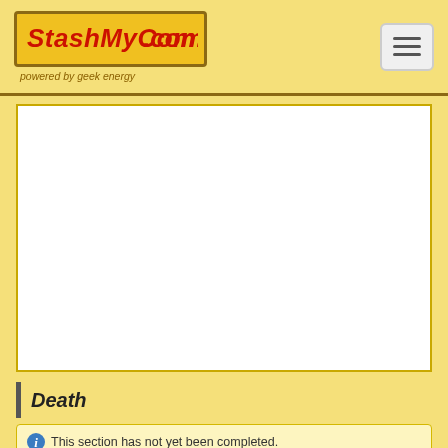StashMyComics.com — powered by geek energy
[Figure (other): White blank rectangular area, likely an advertisement or image placeholder]
Death
This section has not yet been completed.